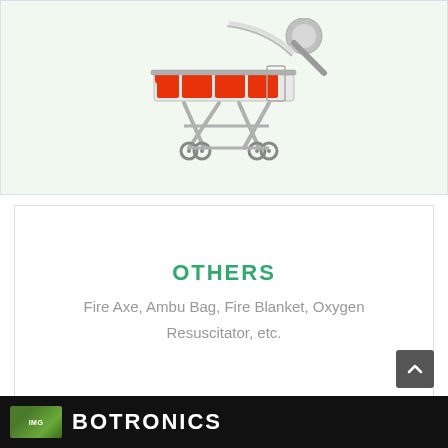[Figure (photo): Medical stretcher/gurney with red padding and chrome frame on wheels, alongside a hose/pipe on a light green background]
OTHERS
Fire Axe, Ambu Bag, Fire Blanket, Oxygen Resuscitator, etc.
BOTRONICS